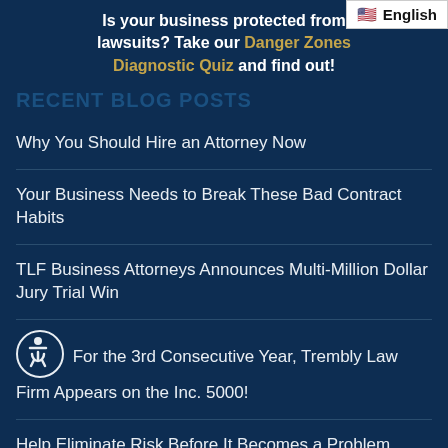English
Is your business protected from lawsuits? Take our Danger Zones Diagnostic Quiz and find out!
RECENT BLOG POSTS
Why You Should Hire an Attorney Now
Your Business Needs to Break These Bad Contract Habits
TLF Business Attorneys Announces Multi-Million Dollar Jury Trial Win
For the 3rd Consecutive Year, Trembly Law Firm Appears on the Inc. 5000!
Help Eliminate Risk Before It Becomes a Problem